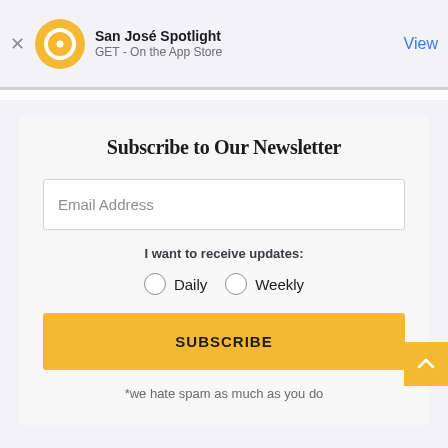San José Spotlight
GET - On the App Store
View
Subscribe to Our Newsletter
Email Address
I want to receive updates:
Daily   Weekly
SUBSCRIBE
*we hate spam as much as you do